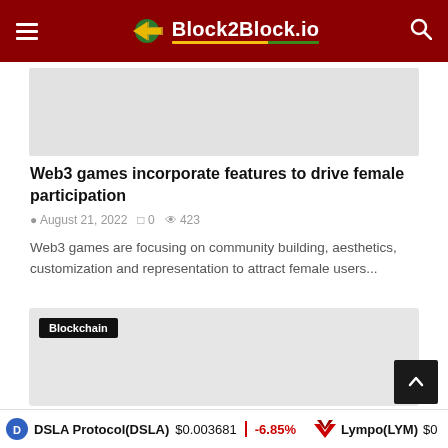Block2Block.io
[Figure (screenshot): Gray placeholder image for article thumbnail]
Web3 games incorporate features to drive female participation
August 21, 2022  0  423
Web3 games are focusing on community building, aesthetics, customization and representation to attract female users...
[Figure (screenshot): Gray placeholder image with Blockchain badge label]
DSLA Protocol(DSLA) $0.003681 -6.85% Lympo(LYM) $0